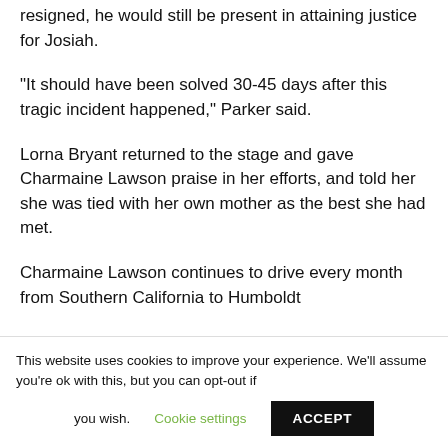resigned, he would still be present in attaining justice for Josiah.
“It should have been solved 30-45 days after this tragic incident happened,” Parker said.
Lorna Bryant returned to the stage and gave Charmaine Lawson praise in her efforts, and told her she was tied with her own mother as the best she had met.
Charmaine Lawson continues to drive every month from Southern California to Humboldt
This website uses cookies to improve your experience. We’ll assume you’re ok with this, but you can opt-out if you wish. Cookie settings ACCEPT